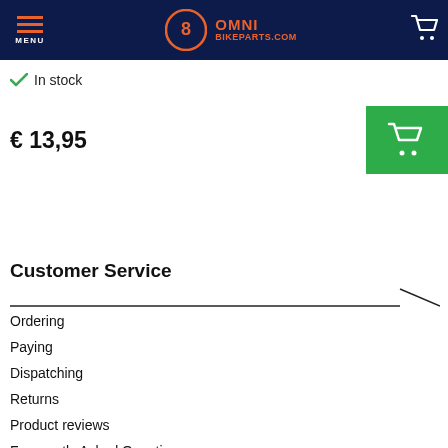OMNI BIKEPARTS.COM
In stock
€ 13,95
Customer Service
Ordering
Paying
Dispatching
Returns
Product reviews
Frequently Asked Questions